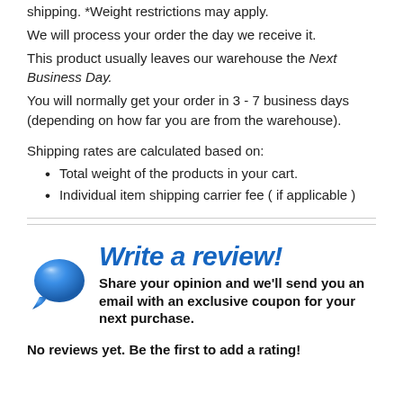shipping. *Weight restrictions may apply.
We will process your order the day we receive it.
This product usually leaves our warehouse the Next Business Day.
You will normally get your order in 3 - 7 business days (depending on how far you are from the warehouse).
Shipping rates are calculated based on:
Total weight of the products in your cart.
Individual item shipping carrier fee ( if applicable )
[Figure (illustration): Write a review banner with blue speech bubble icon, blue italic bold heading 'Write a review!' and bold black subtext 'Share your opinion and we'll send you an email with an exclusive coupon for your next purchase.']
No reviews yet. Be the first to add a rating!